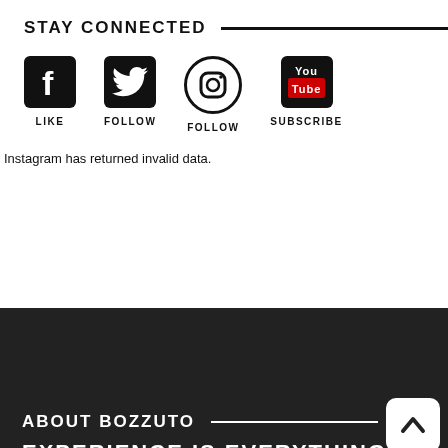STAY CONNECTED
[Figure (infographic): Four social media icons in a row: Facebook (LIKE), Twitter (FOLLOW), Instagram (FOLLOW), YouTube (SUBSCRIBE)]
Instagram has returned invalid data.
ABOUT BOZZUTO
EXPERIENCE IS EVERYTHING